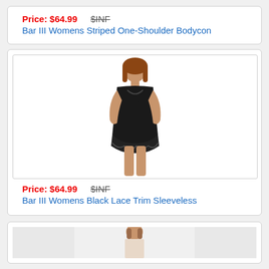Price: $64.99   $INF
Bar III Womens Striped One-Shoulder Bodycon
[Figure (photo): Woman wearing a black sleeveless lace trim dress]
Price: $64.99   $INF
Bar III Womens Black Lace Trim Sleeveless
[Figure (photo): Partial view of another product photo at bottom]